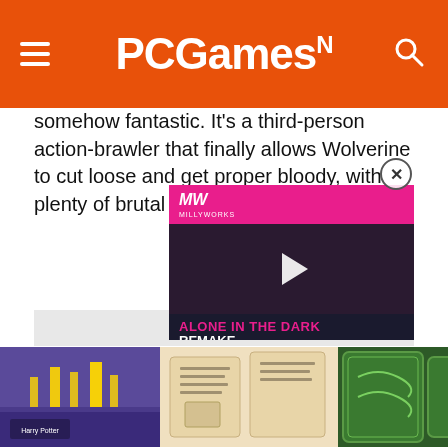PCGamesN
somehow fantastic. It's a third-person action-brawler that finally allows Wolverine to cut loose and get proper bloody, with plenty of brutal kills that send limbs flying.
[Figure (screenshot): Gray placeholder image area for article content]
[Figure (screenshot): Video overlay showing 'Alone in the Dark Remake' with MW logo on pink background and play button]
[Figure (photo): BoxLunch advertisement banner showing Harry Potter merchandise items and BoxLunch logo with Shop Now button]